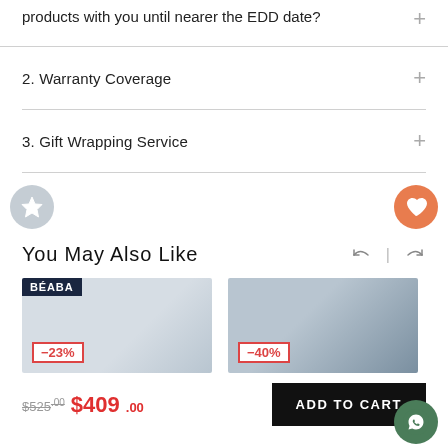products with you until nearer the EDD date?
2. Warranty Coverage
3. Gift Wrapping Service
You May Also Like
$525.00  $409.00
ADD TO CART